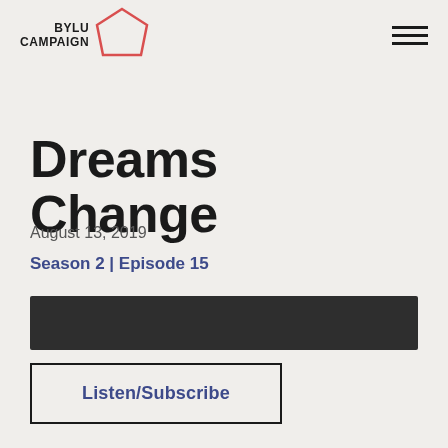BYLU CAMPAIGN (logo with pentagon icon and hamburger menu)
Dreams Change
August 13, 2019
Season 2 | Episode 15
[Figure (other): Dark audio player bar]
Listen/Subscribe